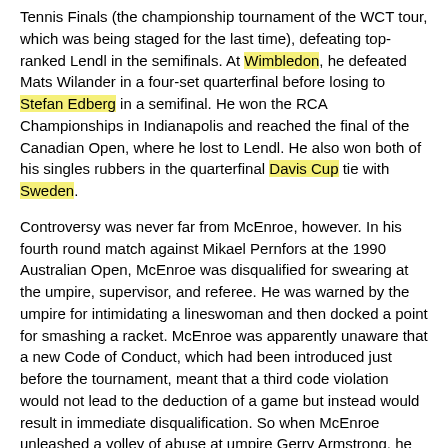Tennis Finals (the championship tournament of the WCT tour, which was being staged for the last time), defeating top-ranked Lendl in the semifinals. At Wimbledon, he defeated Mats Wilander in a four-set quarterfinal before losing to Stefan Edberg in a semifinal. He won the RCA Championships in Indianapolis and reached the final of the Canadian Open, where he lost to Lendl. He also won both of his singles rubbers in the quarterfinal Davis Cup tie with Sweden.
Controversy was never far from McEnroe, however. In his fourth round match against Mikael Pernfors at the 1990 Australian Open, McEnroe was disqualified for swearing at the umpire, supervisor, and referee. He was warned by the umpire for intimidating a lineswoman and then docked a point for smashing a racket. McEnroe was apparently unaware that a new Code of Conduct, which had been introduced just before the tournament, meant that a third code violation would not lead to the deduction of a game but instead would result in immediate disqualification. So when McEnroe unleashed a volley of abuse at umpire Gerry Armstrong, he was defaulted.
Later that year, McEnroe reached the semifinals of the U.S. Open, losing to the eventual champion, Pete Sampras. He also won the Davidoff Swiss Indoors in Basel, defeating Goran Ivanišević in a five-set final. The last time McEnroe was ranked in the world top ten was on October 22, 1990, when he was ranked 9th. His end-of-year singles ranking was 13th.